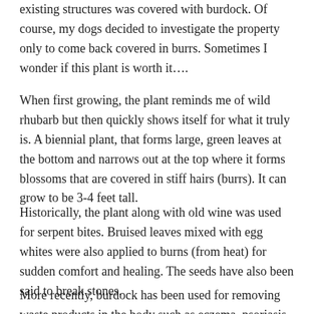existing structures was covered with burdock.  Of course, my dogs decided to investigate the property only to come back covered in burrs.  Sometimes I wonder if this plant is worth it….
When first growing, the plant reminds me of wild rhubarb but then quickly shows itself for what it truly is.  A biennial plant, that forms large, green leaves at the bottom and narrows out at the top where it forms blossoms that are covered in stiff hairs (burrs).  It can grow to be 3-4 feet tall.
Historically, the plant along with old wine was used for serpent bites.  Bruised leaves mixed with egg whites were also applied to burns (from heat) for sudden comfort and healing.  The seeds have also been said to break stones.
More recently, burdock has been used for removing waste products in the body such as eczema, psoriasis, dermatitis, boils, carbuncles, styes, sores, rheumatism, gout, and